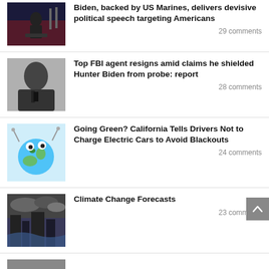Biden, backed by US Marines, delivers devisive political speech targeting Americans — 29 comments
Top FBI agent resigns amid claims he shielded Hunter Biden from probe: report — 28 comments
Going Green? California Tells Drivers Not to Charge Electric Cars to Avoid Blackouts — 24 comments
Climate Change Forecasts — 23 comments
[partial article item, cut off]